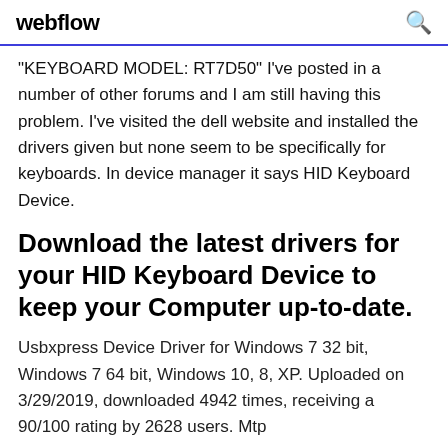webflow
"KEYBOARD MODEL: RT7D50" I've posted in a number of other forums and I am still having this problem. I've visited the dell website and installed the drivers given but none seem to be specifically for keyboards. In device manager it says HID Keyboard Device.
Download the latest drivers for your HID Keyboard Device to keep your Computer up-to-date.
Usbxpress Device Driver for Windows 7 32 bit, Windows 7 64 bit, Windows 10, 8, XP. Uploaded on 3/29/2019, downloaded 4942 times, receiving a 90/100 rating by 2628 users. Mtp